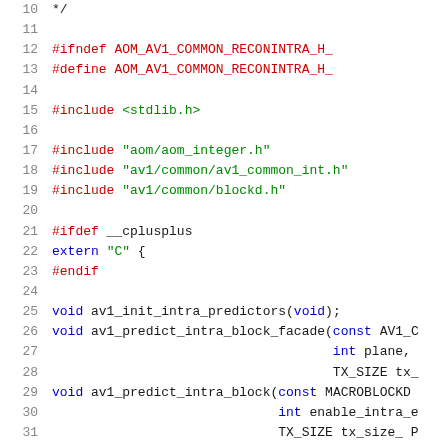[Figure (screenshot): Source code screenshot showing C/C++ header file content with line numbers 10-31, including preprocessor directives (#ifndef, #define, #include, #ifdef, #endif) and function declarations (av1_init_intra_predictors, av1_predict_intra_block_facade, av1_predict_intra_block).]